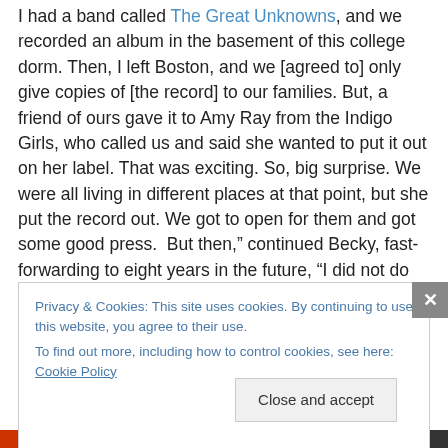I had a band called The Great Unknowns, and we recorded an album in the basement of this college dorm. Then, I left Boston, and we [agreed to] only give copies of [the record] to our families. But, a friend of ours gave it to Amy Ray from the Indigo Girls, who called us and said she wanted to put it out on her label. That was exciting. So, big surprise. We were all living in different places at that point, but she put the record out. We got to open for them and got some good press.  But then,” continued Becky, fast-forwarding to eight years in the future, “I did not do music several years – which we will probably also talk about.
Privacy & Cookies: This site uses cookies. By continuing to use this website, you agree to their use.
To find out more, including how to control cookies, see here: Cookie Policy